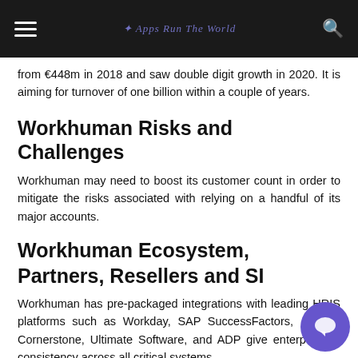Apps Run The World
from €448m in 2018 and saw double digit growth in 2020. It is aiming for turnover of one billion within a couple of years.
Workhuman Risks and Challenges
Workhuman may need to boost its customer count in order to mitigate the risks associated with relying on a handful of its major accounts.
Workhuman Ecosystem, Partners, Resellers and SI
Workhuman has pre-packaged integrations with leading HRIS platforms such as Workday, SAP SuccessFactors, Oracle, Cornerstone, Ultimate Software, and ADP give enterprise a consistency across all critical systems.